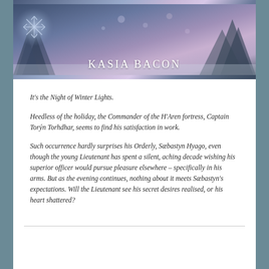[Figure (illustration): Book cover image showing a winter scene with snow-covered trees and bokeh lights, teal/blue/purple tones, with snowflake design on left. Author name 'KASIA BACON' in white spaced lettering overlaid at bottom center.]
It's the Night of Winter Lights.
Heedless of the holiday, the Commander of the H'Aren fortress, Captain Torýn Torhdhar, seems to find his satisfaction in work.
Such occurrence hardly surprises his Orderly, Sæbastyn Hyago, even though the young Lieutenant has spent a silent, aching decade wishing his superior officer would pursue pleasure elsewhere – specifically in his arms. But as the evening continues, nothing about it meets Sæbastyn's expectations. Will the Lieutenant see his secret desires realised, or his heart shattered?